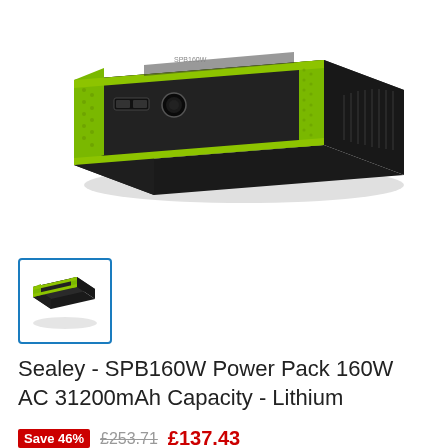[Figure (photo): Sealey SPB160W Power Pack portable battery unit, black and lime green color, angled side view showing USB ports and power button]
[Figure (photo): Small thumbnail image of the same Sealey power pack, shown in a blue-bordered selection box]
Sealey - SPB160W Power Pack 160W AC 31200mAh Capacity - Lithium
Save 46%  £253.71  £137.43